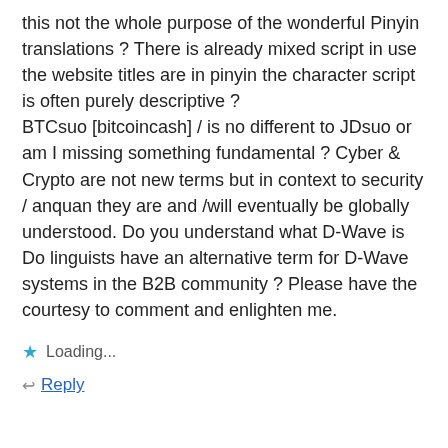this not the whole purpose of the wonderful Pinyin translations ? There is already mixed script in use the website titles are in pinyin the character script is often purely descriptive ? BTCsuo [bitcoincash] / is no different to JDsuo or am I missing something fundamental ? Cyber & Crypto are not new terms but in context to security / anquan they are and /will eventually be globally understood. Do you understand what D-Wave is Do linguists have an alternative term for D-Wave systems in the B2B community ? Please have the courtesy to comment and enlighten me.
Loading...
Reply